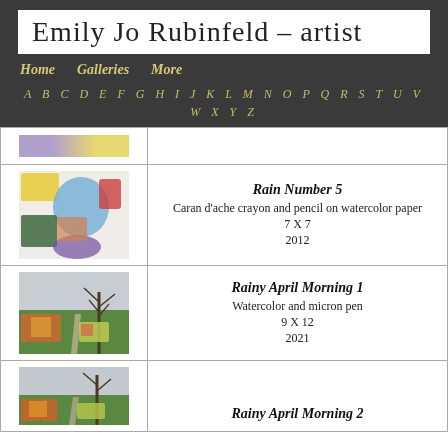Emily Jo Rubinfeld – artist
Home   Galleries   More
A B C D E F G H I J K L M N O P Q R S T U V W X Y Z
[Figure (photo): Partial thumbnail of artwork (cropped top of page)]
[Figure (illustration): Rain Number 5 – colorful crayon and pencil drawing with blue circular shape, yellow and red forms on watercolor paper]
Rain Number 5
Caran d'ache crayon and pencil on watercolor paper
7 X 7
2012
[Figure (illustration): Rainy April Morning 1 – watercolor and micron pen landscape with bare tree and colorful garden]
Rainy April Morning 1
Watercolor and micron pen
9 X 12
2021
[Figure (illustration): Rainy April Morning 2 – partial view, similar landscape style]
Rainy April Morning 2